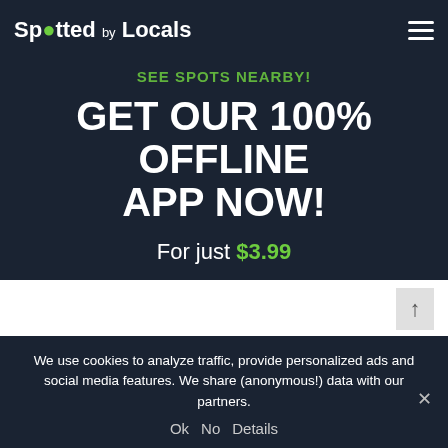Spotted by Locals
SEE SPOTS NEARBY!
GET OUR 100% OFFLINE APP NOW!
For just $3.99
App Store   Google Play
We use cookies to analyze traffic, provide personalized ads and social media features. We share (anonymous!) data with our partners.
Ok   No   Details